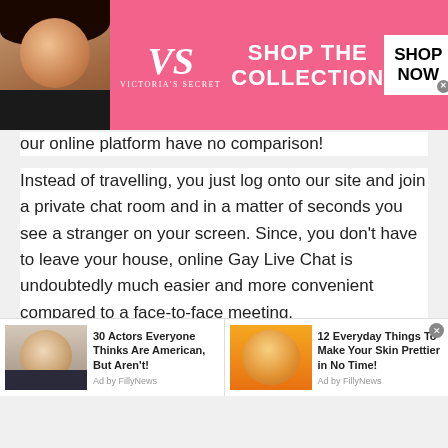[Figure (screenshot): Victoria's Secret advertisement banner with model, VS logo, 'SHOP THE COLLECTION' text, and 'SHOP NOW' button]
our online platform have no comparison!
Instead of travelling, you just log onto our site and join a private chat room and in a matter of seconds you see a stranger on your screen. Since, you don't have to leave your house, online Gay Live Chat is undoubtedly much easier and more convenient compared to a face-to-face meeting.
It takes a few seconds to log in, plus you do not even have to leave your bed (except to probably grab a charger!) So
[Figure (screenshot): Two advertisement blocks: '30 Actors Everyone Thinks Are American, But Aren't!' and '12 Everyday Things To Make Your Skin Prettier in No Time!' both by FillyNews]